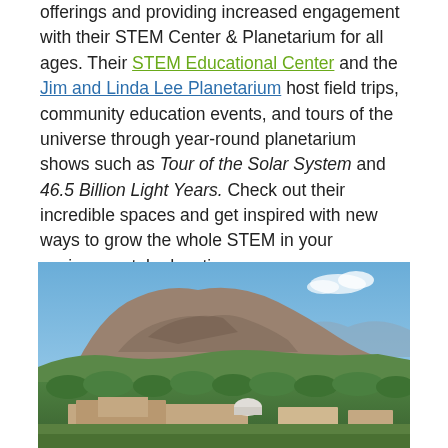offerings and providing increased engagement with their STEM Center & Planetarium for all ages. Their STEM Educational Center and the Jim and Linda Lee Planetarium host field trips, community education events, and tours of the universe through year-round planetarium shows such as Tour of the Solar System and 46.5 Billion Light Years. Check out their incredible spaces and get inspired with new ways to grow the whole STEM in your environmental education program.
[Figure (photo): Aerial photograph of a campus with brick buildings including a dome (planetarium), surrounded by green trees, with a large rocky mountain (Chautauqua Park area / Flagstaff Mountain) in the background and blue sky.]